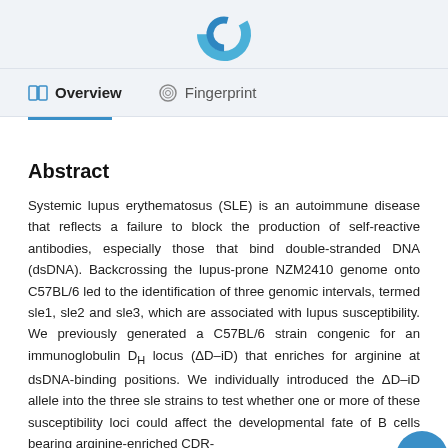[Figure (logo): Blue swirl/ring logo at top center of page]
Overview   Fingerprint
Abstract
Systemic lupus erythematosus (SLE) is an autoimmune disease that reflects a failure to block the production of self-reactive antibodies, especially those that bind double-stranded DNA (dsDNA). Backcrossing the lupus-prone NZM2410 genome onto C57BL/6 led to the identification of three genomic intervals, termed sle1, sle2 and sle3, which are associated with lupus susceptibility. We previously generated a C57BL/6 strain congenic for an immunoglobulin DH locus (ΔD–iD) that enriches for arginine at dsDNA-binding positions. We individually introduced the ΔD–iD allele into the three sle strains to test whether one or more of these susceptibility loci could affect the developmental fate of B cells bearing arginine-enriched CDR-